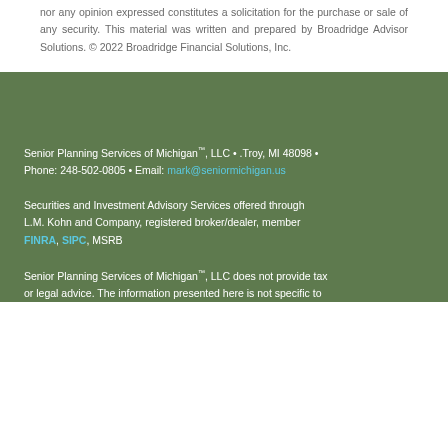nor any opinion expressed constitutes a solicitation for the purchase or sale of any security. This material was written and prepared by Broadridge Advisor Solutions. © 2022 Broadridge Financial Solutions, Inc.
Senior Planning Services of Michigan™, LLC • .Troy, MI 48098 • Phone: 248-502-0805 • Email: mark@seniormichigan.us
Securities and Investment Advisory Services offered through L.M. Kohn and Company, registered broker/dealer, member FINRA, SIPC, MSRB
Senior Planning Services of Michigan™, LLC does not provide tax or legal advice. The information presented here is not specific to